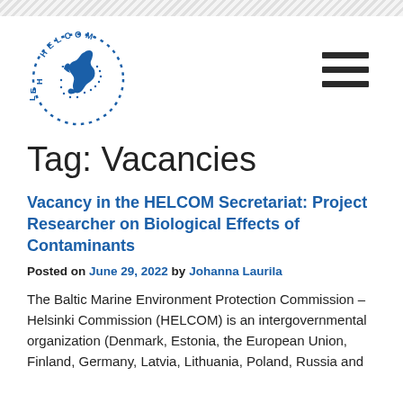[Figure (logo): HELCOM logo: blue map of Baltic Sea region with dotted circle border and HELCOM text arcing around top]
Tag: Vacancies
Vacancy in the HELCOM Secretariat: Project Researcher on Biological Effects of Contaminants
Posted on June 29, 2022 by Johanna Laurila
The Baltic Marine Environment Protection Commission – Helsinki Commission (HELCOM) is an intergovernmental organization (Denmark, Estonia, the European Union, Finland, Germany, Latvia, Lithuania, Poland, Russia and